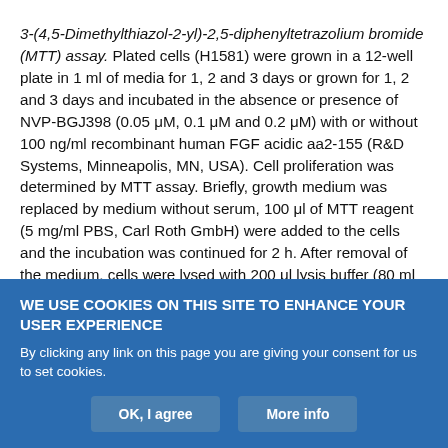3-(4,5-Dimethylthiazol-2-yl)-2,5-diphenyltetrazolium bromide (MTT) assay. Plated cells (H1581) were grown in a 12-well plate in 1 ml of media for 1, 2 and 3 days or grown for 1, 2 and 3 days and incubated in the absence or presence of NVP-BGJ398 (0.05 μM, 0.1 μM and 0.2 μM) with or without 100 ng/ml recombinant human FGF acidic aa2-155 (R&D Systems, Minneapolis, MN, USA). Cell proliferation was determined by MTT assay. Briefly, growth medium was replaced by medium without serum, 100 μl of MTT reagent (5 mg/ml PBS, Carl Roth GmbH) were added to the cells and the incubation was continued for 2 h. After removal of the medium, cells were lysed with 200 μl lysis buffer (80 ml isopropanol, 10 ml triton-X100, 10 ml 1M HCl) for 10 minutes. The absorbance of 50 μl of the
WE USE COOKIES ON THIS SITE TO ENHANCE YOUR USER EXPERIENCE
By clicking any link on this page you are giving your consent for us to set cookies.